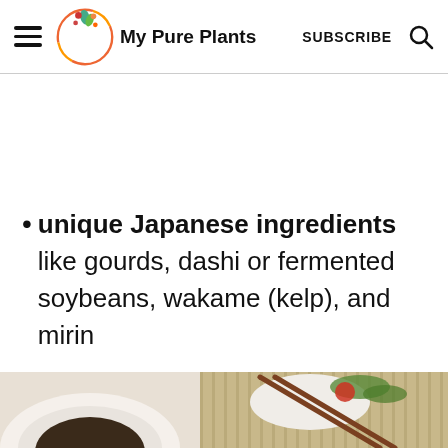My Pure Plants — SUBSCRIBE
unique Japanese ingredients like gourds, dashi or fermented soybeans, wakame (kelp), and mirin
[Figure (photo): Bottom portion of a food photo showing Japanese cuisine items including rice, chopsticks, and a bowl of sauce on a bamboo mat]